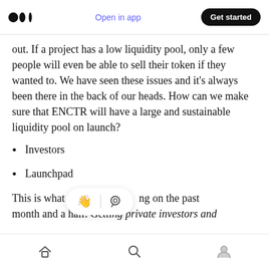Open in app | Get started
out. If a project has a low liquidity pool, only a few people will even be able to sell their token if they wanted to. We have seen these issues and it’s always been there in the back of our heads. How can we make sure that ENCTR will have a large and sustainable liquidity pool on launch?
Investors
Launchpad
This is what we hav…ng on the past month and a half. Ge……e investors and
Home | Search | Profile